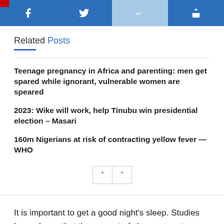[Figure (other): Social sharing buttons bar: Facebook, Twitter, Google+, Share icons in blue]
Related Posts
Teenage pregnancy in Africa and parenting: men get spared while ignorant, vulnerable women are speared
2023: Wike will work, help Tinubu win presidential election – Masari
160m Nigerians at risk of contracting yellow fever —WHO
It is important to get a good night's sleep. Studies have shown that the amount of sleep you get can affect you both physically and mentally. It impacts your weight, brain